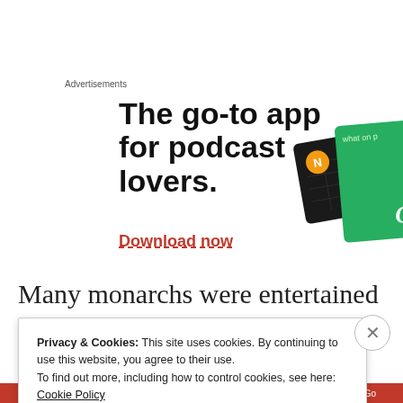Advertisements
[Figure (illustration): Advertisement banner for a podcast app showing the text 'The go-to app for podcast lovers.' with a 'Download now' link in red, and illustrated app UI cards (black card with grid and yellow square, green card with 'On' text) on the right side.]
Many monarchs were entertained
Privacy & Cookies: This site uses cookies. By continuing to use this website, you agree to their use.
To find out more, including how to control cookies, see here: Cookie Policy
Close and accept